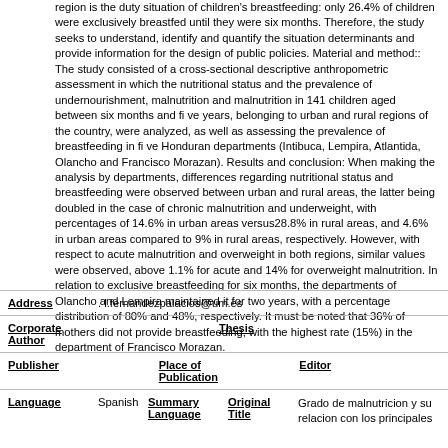region is the duty situation of children's breastfeeding: only 26.4% of children were exclusively breastfed until they were six months. Therefore, the study seeks to understand, identify and quantify the situation determinants and provide information for the design of public policies. Material and method:: The study consisted of a cross-sectional descriptive anthropometric assessment in which the nutritional status and the prevalence of undernourishment, malnutrition and malnutrition in 141 children aged between six months and fi ve years, belonging to urban and rural regions of the country, were analyzed, as well as assessing the prevalence of breastfeeding in fi ve Honduran departments (Intibuca, Lempira, Atlantida, Olancho and Francisco Morazan). Results and conclusion: When making the analysis by departments, differences regarding nutritional status and breastfeeding were observed between urban and rural areas, the latter being doubled in the case of chronic malnutrition and underweight, with percentages of 14.6% in urban areas versus28.8% in rural areas, and 4.6% in urban areas compared to 9% in rural areas, respectively. However, with respect to acute malnutrition and overweight in both regions, similar values were observed, above 1.1% for acute and 14% for overweight malnutrition. In relation to exclusive breastfeeding for six months, the departments of Olancho and Lempira maintained it for two years, with a percentage distribution of 80% and 48%, respectively. It must be noted that 36% of mothers did not provide breastfeeding, with the highest rate (15%) in the department of Francisco Morazan.
Address    . l.fernandezpalacios@um.es
Corporate Author    Thesis
Publisher    Place of Publication    Editor
Language    Spanish    Summary Language    Original Title    Grado de malnutricion y su relacion con los principales